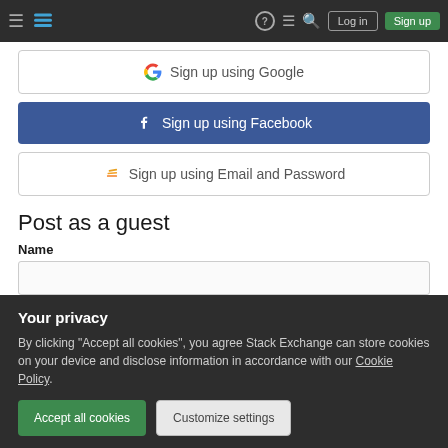Stack Exchange navigation bar with Log in and Sign up buttons
[Figure (screenshot): Sign up using Google button - white button with Google G logo and text]
[Figure (screenshot): Sign up using Facebook button - blue button with Facebook f logo and text]
[Figure (screenshot): Sign up using Email and Password button - white button with Stack Exchange logo and text]
Post as a guest
Name
[Figure (screenshot): Privacy consent overlay with Accept all cookies and Customize settings buttons]
Your privacy
By clicking "Accept all cookies", you agree Stack Exchange can store cookies on your device and disclose information in accordance with our Cookie Policy.
Accept all cookies
Customize settings